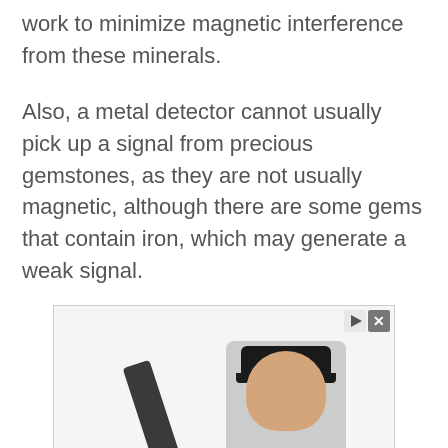work to minimize magnetic interference from these minerals.
Also, a metal detector cannot usually pick up a signal from precious gemstones, as they are not usually magnetic, although there are some gems that contain iron, which may generate a weak signal.
[Figure (photo): Advertisement image showing a handheld metal detector wand and a person wearing a black cap, with play and close buttons in the top right corner.]
x